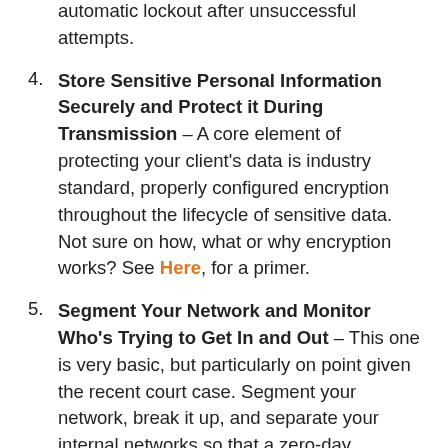automatic lockout after unsuccessful attempts.
4. Store Sensitive Personal Information Securely and Protect it During Transmission – A core element of protecting your client's data is industry standard, properly configured encryption throughout the lifecycle of sensitive data. Not sure on how, what or why encryption works? See Here, for a primer.
5. Segment Your Network and Monitor Who's Trying to Get In and Out – This one is very basic, but particularly on point given the recent court case. Segment your network, break it up, and separate your internal networks so that a zero-day vulnerability in one area or a an intrusion, does not grant unfettered access in another. In tandem with that, monitor your network for traffic, spikes in usage, etc.
6. Secure Remote Access to Your Network – Every company employs remote workers, or at the